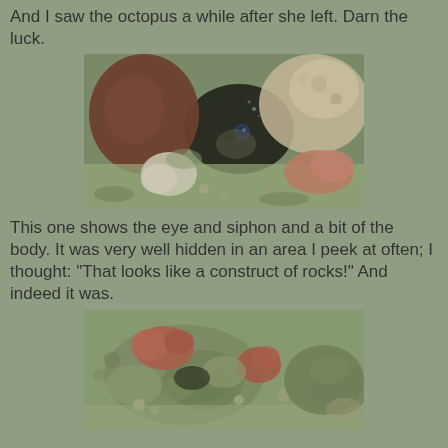And I saw the octopus a while after she left. Darn the luck.
[Figure (photo): Underwater photo of an octopus hidden among rocks, showing its eye and siphon and a bit of its body camouflaged in a rocky crevice.]
This one shows the eye and siphon and a bit of the body. It was very well hidden in an area I peek at often; I thought: "That looks like a construct of rocks!" And indeed it was.
[Figure (photo): Underwater photo showing a construct of rocks built by an octopus, with reddish sponges and algae-covered rocks on the seafloor.]